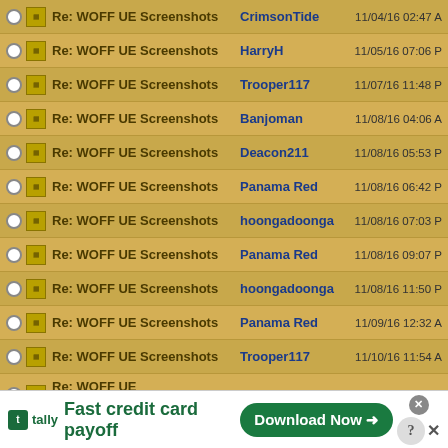|  | Subject | Author | Date |
| --- | --- | --- | --- |
| ○ 🗂 | Re: WOFF UE Screenshots | CrimsonTide | 11/04/16 02:47 A |
| ○ 🗂 | Re: WOFF UE Screenshots | HarryH | 11/05/16 07:06 P |
| ○ 🗂 | Re: WOFF UE Screenshots | Trooper117 | 11/07/16 11:48 P |
| ○ 🗂 | Re: WOFF UE Screenshots | Banjoman | 11/08/16 04:06 A |
| ○ 🗂 | Re: WOFF UE Screenshots | Deacon211 | 11/08/16 05:53 P |
| ○ 🗂 | Re: WOFF UE Screenshots | Panama Red | 11/08/16 06:42 P |
| ○ 🗂 | Re: WOFF UE Screenshots | hoongadoonga | 11/08/16 07:03 P |
| ○ 🗂 | Re: WOFF UE Screenshots | Panama Red | 11/08/16 09:07 P |
| ○ 🗂 | Re: WOFF UE Screenshots | hoongadoonga | 11/08/16 11:50 P |
| ○ 🗂 | Re: WOFF UE Screenshots | Panama Red | 11/09/16 12:32 A |
| ○ 🗂 | Re: WOFF UE Screenshots | Trooper117 | 11/10/16 11:54 A |
| ○ 🗂 | Re: WOFF UE Screenshots | Shredward | 11/10/16 02:21 P |
[Figure (screenshot): Advertisement banner for Tally app - Fast credit card payoff with Download Now button]